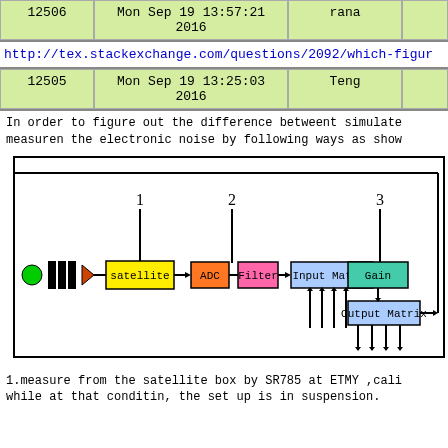| ID | Date | Author |  |
| --- | --- | --- | --- |
| 12506 | Mon Sep 19 13:57:21 2016 | rana |  |
http://tex.stackexchange.com/questions/2092/which-figur
| ID | Date | Author |  |
| --- | --- | --- | --- |
| 12505 | Mon Sep 19 13:25:03 2016 | Teng |  |
In order to figure out the difference betweent simulate measuren the electronic noise by following ways as show
[Figure (engineering-diagram): Block diagram showing signal chain: green LED source, optics, satellite box, ADC, Filter, Input Matrix, Gain, Output Matrix with numbered measurement points 1, 2, 3 and arrows indicating signal flow and injection points.]
1.measure from the satellite box by SR785 at ETMY ,cali while at that conditin, the set up is in suspension.